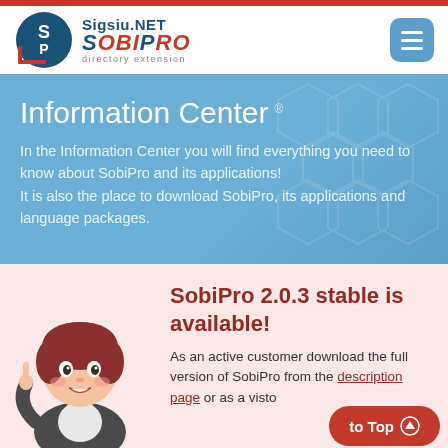[Figure (logo): SobiPro logo with circular SP emblem and text 'Sigsiu.NET SobiPro directory extension']
Information Center
In the Information Center you will find everything you need to know about SobiPro and its applications! It is also the place to download SobiPro, its applications and language packages.
[Figure (illustration): Cartoon mascot illustration of a girl with red hair in a suit, pointing upward]
SobiPro 2.0.3 stable is available!
As an active customer download the full version of SobiPro from the description page or as a visitor download the demo version.